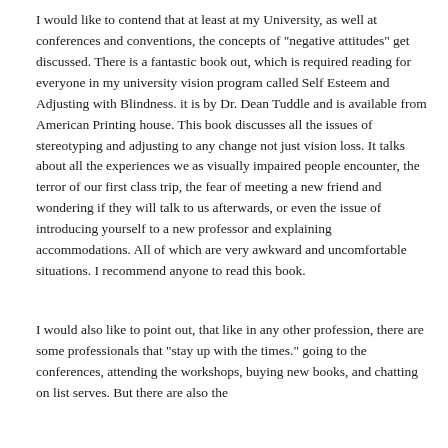I would like to contend that at least at my University, as well at conferences and conventions, the concepts of "negative attitudes" get discussed. There is a fantastic book out, which is required reading for everyone in my university vision program called Self Esteem and Adjusting with Blindness. it is by Dr. Dean Tuddle and is available from American Printing house. This book discusses all the issues of stereotyping and adjusting to any change not just vision loss. It talks about all the experiences we as visually impaired people encounter, the terror of our first class trip, the fear of meeting a new friend and wondering if they will talk to us afterwards, or even the issue of introducing yourself to a new professor and explaining accommodations. All of which are very awkward and uncomfortable situations. I recommend anyone to read this book.
I would also like to point out, that like in any other profession, there are some professionals that "stay up with the times." going to the conferences, attending the workshops, buying new books, and chatting on list serves. But there are also the